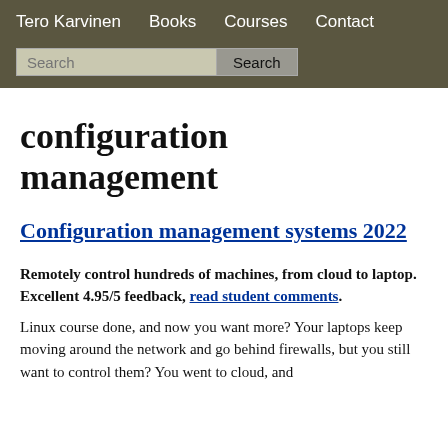Tero Karvinen  Books  Courses  Contact
configuration management
Configuration management systems 2022
Remotely control hundreds of machines, from cloud to laptop. Excellent 4.95/5 feedback, read student comments.
Linux course done, and now you want more? Your laptops keep moving around the network and go behind firewalls, but you still want to control them? You went to cloud, and